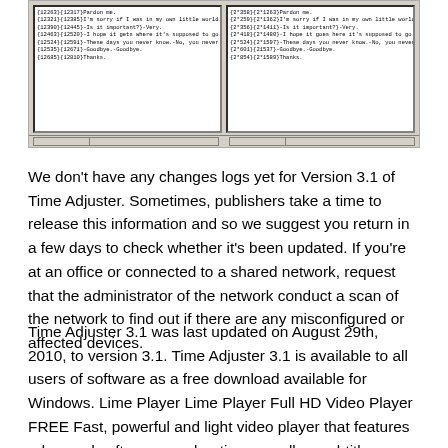[Figure (screenshot): Screenshot of a software application window showing two side-by-side text panels with subtitle/time codes data, on a Windows-style interface with a gray taskbar at the bottom.]
We don't have any changes logs yet for Version 3.1 of Time Adjuster. Sometimes, publishers take a time to release this information and so we suggest you return in a few days to check whether it's been updated. If you're at an office or connected to a shared network, request that the administrator of the network conduct a scan of the network to find out if there are any misconfigured or affected devices.
Time Adjuster 3.1 was last updated on August 29th, 2010, to version 3.1. Time Adjuster 3.1 is available to all users of software as a free download available for Windows. Lime Player Lime Player Full HD Video Player FREE Fast, powerful and light video player that features advanced software acceleration as well as subtitles support.
It's a simple program most commonly used for Turkey,